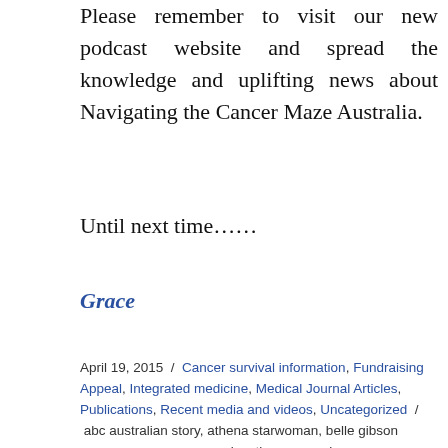Please remember to visit our new podcast website and spread the knowledge and uplifting news about Navigating the Cancer Maze Australia.
Until next time……
Grace
April 19, 2015 / Cancer survival information, Fundraising Appeal, Integrated medicine, Medical Journal Articles, Publications, Recent media and videos, Uncategorized / abc australian story, athena starwoman, belle gibson cancer, cancer, cancer education, cancer journey, cancer survival, desperate remedies dingle, dr sartori, Gawler, gemma bond, Grace Gawler Institute, grace gawler media podcasts, Grace Gawler navigating the cancer maze, grace gawler podcasts, grace gawler voice America, holding out for a miracle the australian, ian gawler out on a